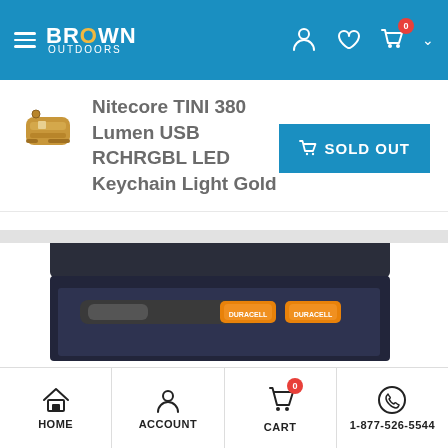Brown Outdoors — navigation header
Nitecore TINI 380 Lumen USB RCHRGBL LED Keychain Light Gold
[Figure (photo): Small gold colored Nitecore TINI keychain LED flashlight thumbnail image]
SOLD OUT
[Figure (photo): Product image of a flashlight in a dark gift box with Duracell batteries, partially visible]
HOME | ACCOUNT | CART | 1-877-526-5544